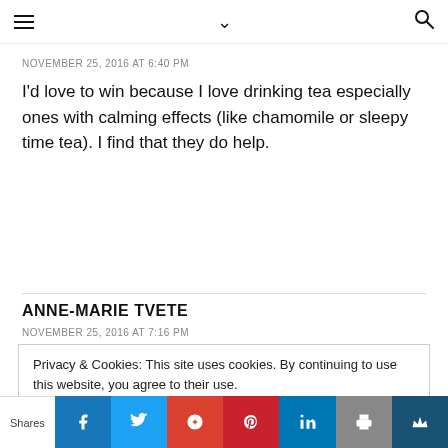≡  ∨  🔍
NOVEMBER 25, 2016 AT 6:40 PM
I'd love to win because I love drinking tea especially ones with calming effects (like chamomile or sleepy time tea). I find that they do help.
ANNE-MARIE TVETE
NOVEMBER 25, 2016 AT 7:16 PM
Privacy & Cookies: This site uses cookies. By continuing to use this website, you agree to their use.
To find out more, including how to control cookies, see here: Cookie Policy
Shares  [Facebook] [Twitter] [Google+] [Pinterest] [LinkedIn] [Print] [Crown]